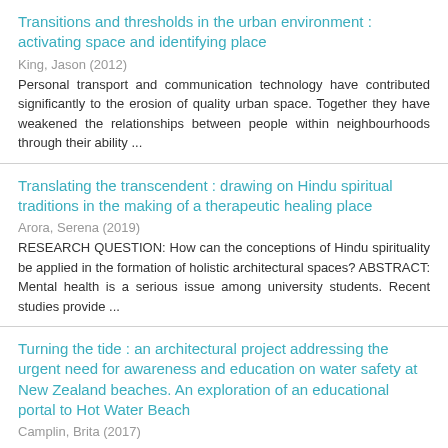Transitions and thresholds in the urban environment : activating space and identifying place
King, Jason (2012)
Personal transport and communication technology have contributed significantly to the erosion of quality urban space. Together they have weakened the relationships between people within neighbourhoods through their ability ...
Translating the transcendent : drawing on Hindu spiritual traditions in the making of a therapeutic healing place
Arora, Serena (2019)
RESEARCH QUESTION: How can the conceptions of Hindu spirituality be applied in the formation of holistic architectural spaces? ABSTRACT: Mental health is a serious issue among university students. Recent studies provide ...
Turning the tide : an architectural project addressing the urgent need for awareness and education on water safety at New Zealand beaches. An exploration of an educational portal to Hot Water Beach
Camplin, Brita (2017)